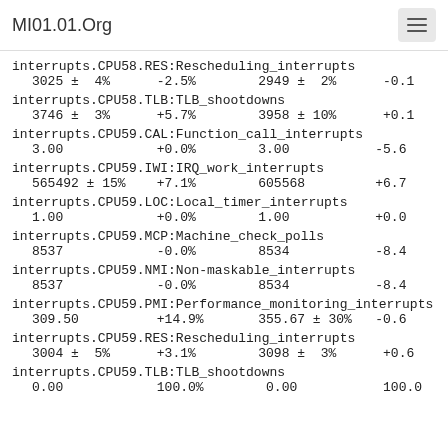MI01.01.Org
interrupts.CPU58.RES:Rescheduling_interrupts
3025 ±  4%          -2.5%          2949 ±  2%          -0.1
interrupts.CPU58.TLB:TLB_shootdowns
3746 ±  3%          +5.7%          3958 ± 10%          +0.1
interrupts.CPU59.CAL:Function_call_interrupts
3.00                +0.0%          3.00                -5.6
interrupts.CPU59.IWI:IRQ_work_interrupts
565492 ± 15%        +7.1%          605568              +6.7
interrupts.CPU59.LOC:Local_timer_interrupts
1.00                +0.0%          1.00                +0.0
interrupts.CPU59.MCP:Machine_check_polls
8537                -0.0%          8534                -8.4
interrupts.CPU59.NMI:Non-maskable_interrupts
8537                -0.0%          8534                -8.4
interrupts.CPU59.PMI:Performance_monitoring_interrupts
309.50              +14.9%         355.67 ± 30%        -0.6
interrupts.CPU59.RES:Rescheduling_interrupts
3004 ±  5%          +3.1%          3098 ±  3%          +0.6
interrupts.CPU59.TLB:TLB_shootdowns
0.00                100.0%         0.00                100.0